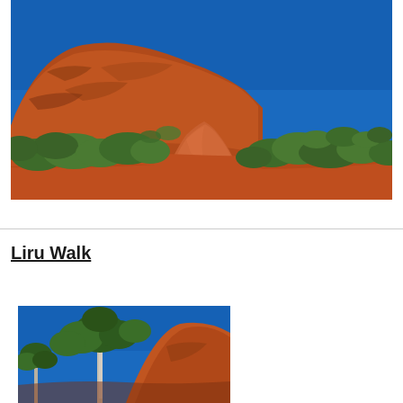[Figure (photo): Wide landscape photo showing Uluru (Ayers Rock) rising on the left with red sandy path leading toward it, scrubby green desert bushes on both sides, under a bright blue sky.]
Liru Walk
[Figure (photo): Partial photo showing desert trees with white bark and green foliage against a blue sky, with orange-red rock formation (Uluru) visible behind.]